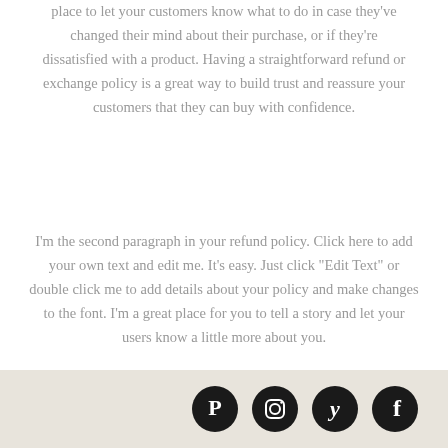place to let your customers know what to do in case they've changed their mind about their purchase, or if they're dissatisfied with a product. Having a straightforward refund or exchange policy is a great way to build trust and reassure your customers that they can buy with confidence.
I'm the second paragraph in your refund policy. Click here to add your own text and edit me. It's easy. Just click "Edit Text" or double click me to add details about your policy and make changes to the font. I'm a great place for you to tell a story and let your users know a little more about you.
[Figure (other): Footer bar with social media icons: Pinterest, Instagram, Yelp, Facebook]